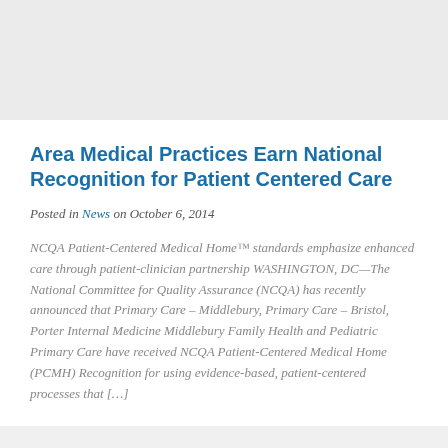Area Medical Practices Earn National Recognition for Patient Centered Care
Posted in News on October 6, 2014
NCQA Patient-Centered Medical Home™ standards emphasize enhanced care through patient-clinician partnership WASHINGTON, DC—The National Committee for Quality Assurance (NCQA) has recently announced that Primary Care – Middlebury, Primary Care – Bristol, Porter Internal Medicine Middlebury Family Health and Pediatric Primary Care have received NCQA Patient-Centered Medical Home (PCMH) Recognition for using evidence-based, patient-centered processes that […]